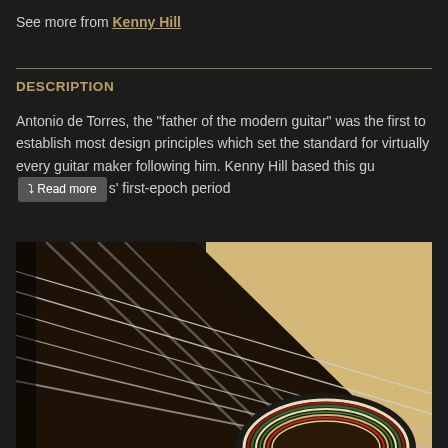See more from Kenny Hill
DESCRIPTION
Antonio de Torres, the "father of the modern guitar" was the first to establish most design principles which set the standard for virtually every guitar maker following him. Kenny Hill based this gu [Read more] s' first-epoch period
[Figure (photo): Close-up photo of a classical guitar showing the fretboard with strings, the soundhole with decorative rosette inlay in green, red and cream colors, and the spruce top of the guitar body]